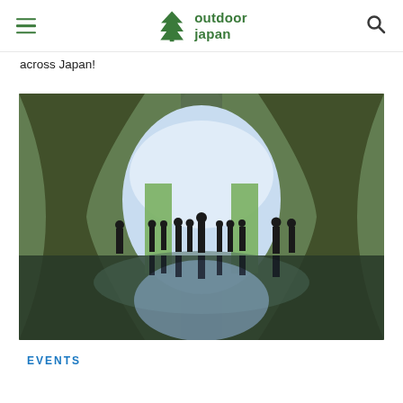outdoor japan
across Japan!
[Figure (photo): People silhouetted inside a large circular tunnel opening, with lush green moss-covered walls and a reflective water floor. An oval-shaped opening reveals a bright sky and green gorge beyond. The figures and their reflections create a dramatic, symmetric composition.]
EVENTS